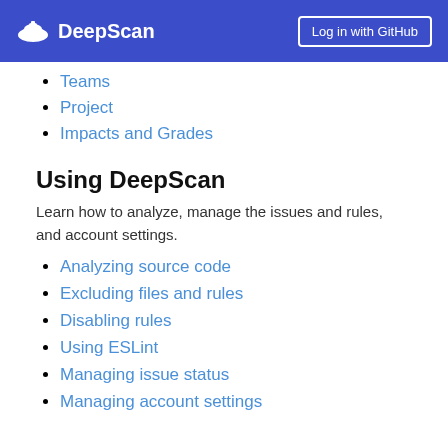DeepScan  Log in with GitHub
Teams
Project
Impacts and Grades
Using DeepScan
Learn how to analyze, manage the issues and rules, and account settings.
Analyzing source code
Excluding files and rules
Disabling rules
Using ESLint
Managing issue status
Managing account settings